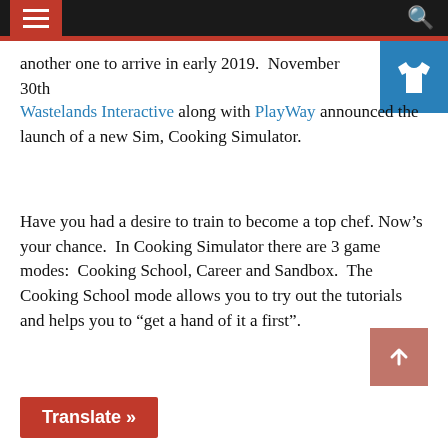Navigation header bar with menu and search
another one to arrive in early 2019.  November 30th Wastelands Interactive along with PlayWay announced the launch of a new Sim, Cooking Simulator.
Have you had a desire to train to become a top chef. Now’s your chance.  In Cooking Simulator there are 3 game modes:  Cooking School, Career and Sandbox.  The Cooking School mode allows you to try out the tutorials and helps you to “get a hand of it a first”.